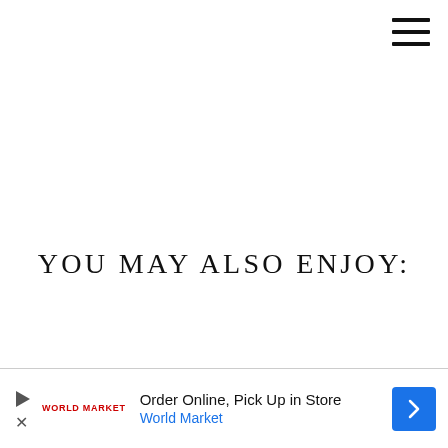[Figure (other): Hamburger menu icon (three horizontal lines) in top right corner]
YOU MAY ALSO ENJOY:
[Figure (other): Advertisement banner: Order Online, Pick Up in Store – World Market, with play/close buttons, logo, and blue arrow icon]